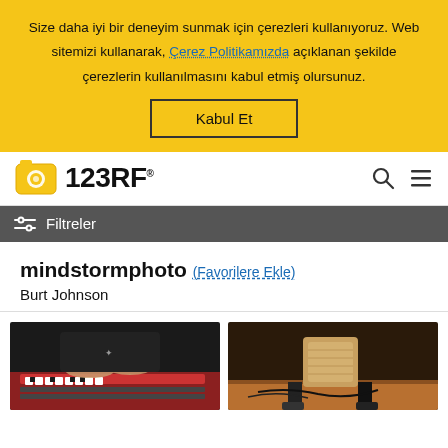Size daha iyi bir deneyim sunmak için çerezleri kullanıyoruz. Web sitemizi kullanarak, Çerez Politikamızda açıklanan şekilde çerezlerin kullanılmasını kabul etmiş olursunuz.
Kabul Et
[Figure (logo): 123RF logo with yellow camera icon and bold black 123RF text with registered trademark symbol]
Filtreler
mindstormphoto (Favorilere Ekle)
Burt Johnson
[Figure (photo): Person playing a red/orange synthesizer keyboard, dark clothing, shot from above]
[Figure (photo): Person standing next to a wooden cajon drum with cables on the floor, indoor venue]